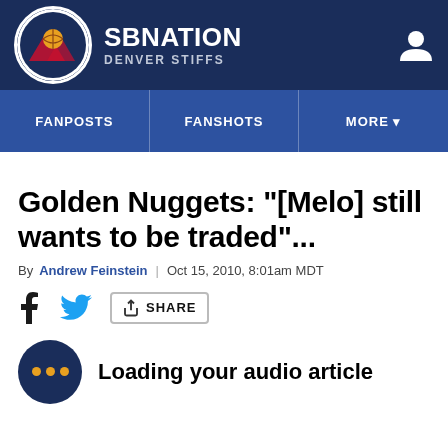SB NATION — DENVER STIFFS
FANPOSTS | FANSHOTS | MORE
Golden Nuggets: "[Melo] still wants to be traded"...
By Andrew Feinstein | Oct 15, 2010, 8:01am MDT
SHARE
Loading your audio article